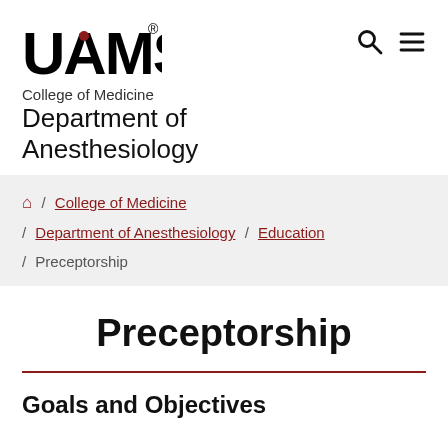[Figure (logo): UAMS logo with red dot over the A, bold black text]
College of Medicine
Department of Anesthesiology
🏠 / College of Medicine / Department of Anesthesiology / Education / Preceptorship
Preceptorship
Goals and Objectives